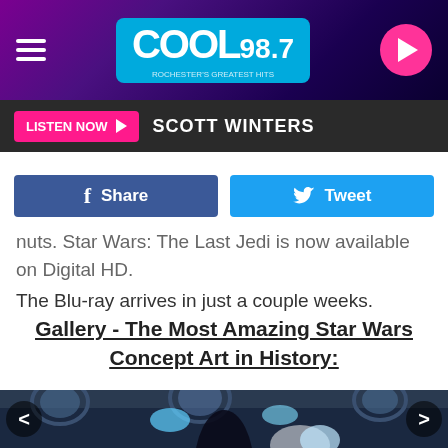[Figure (screenshot): COOL 98.7 radio station website header banner with purple/dark background, hamburger menu icon on left, COOL 98.7 logo in center, pink play button circle on right]
LISTEN NOW ▶   SCOTT WINTERS
[Figure (screenshot): Social share buttons: blue Facebook Share button and blue Twitter Tweet button]
nuts. Star Wars: The Last Jedi is now available on Digital HD. The Blu-ray arrives in just a couple weeks.
Gallery - The Most Amazing Star Wars Concept Art in History:
[Figure (illustration): Star Wars concept art showing a dark cloaked figure with glowing blue energy emanating from outstretched hands, set inside a spacecraft with circular windows]